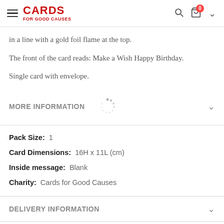CARDS FOR GOOD CAUSES
in a line with a gold foil flame at the top.
The front of the card reads: Make a Wish Happy Birthday.
Single card with envelope.
MORE INFORMATION
Pack Size: 1
Card Dimensions: 16H x 11L (cm)
Inside message: Blank
Charity: Cards for Good Causes
DELIVERY INFORMATION